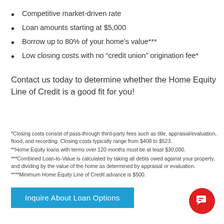Competitive market-driven rate
Loan amounts starting at $5,000
Borrow up to 80% of your home's value***
Low closing costs with no “credit union” origination fee*
Contact us today to determine whether the Home Equity Line of Credit is a good fit for you!
*Closing costs consist of pass-through third-party fees such as title, appraisal/evaluation, flood, and recording. Closing costs typically range from $408 to $523.
**Home Equity loans with terms over 120 months must be at least $30,000.
***Combined Loan-to-Value is calculated by taking all debts owed against your property, and dividing by the value of the home as determined by appraisal or evaluation.
****Minimum Home Equity Line of Credit advance is $500.
Inquire About Loan Options